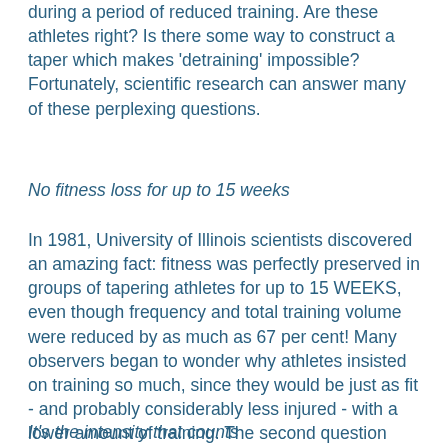during a period of reduced training. Are these athletes right? Is there some way to construct a taper which makes 'detraining' impossible? Fortunately, scientific research can answer many of these perplexing questions.
No fitness loss for up to 15 weeks
In 1981, University of Illinois scientists discovered an amazing fact: fitness was perfectly preserved in groups of tapering athletes for up to 15 WEEKS, even though frequency and total training volume were reduced by as much as 67 per cent! Many observers began to wonder why athletes insisted on training so much, since they would be just as fit - and probably considerably less injured - with a lower amount of training. The second question was as follows: if athletes don't lose anything when training is reduced, might it not be possible to actually GAIN something during diminished-training periods, if total training were cut by just the right amount and athletes were truly allowed to rest?
It's the intensity that counts